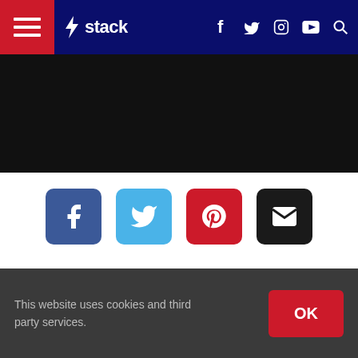stack — navigation bar with hamburger menu, logo, social icons (f, twitter, instagram, youtube), search
[Figure (screenshot): Black banner/ad area below navigation]
[Figure (infographic): Social share buttons: Facebook (blue), Twitter (light blue), Pinterest (red), Email (black)]
Bars are bigger than ever, and I'm not talking about hangouts that serve Budweiser. I'm talking about the ready-to-eat, supposedly-nutritious rectangles that now occupy a large section of your local supermarket. To many people, a nutrition bar is the perfe[ct snack. T]hey're super [convenient, appealing] to the
[Figure (screenshot): Close Ad overlay with X button and ad strip showing sports images]
This website uses cookies and third party services.
OK